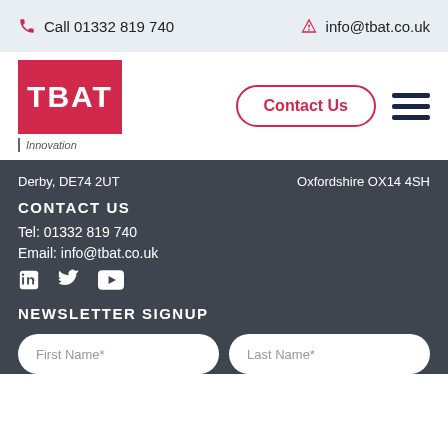Call 01332 819 740   info@tbat.co.uk
[Figure (logo): TBAT Innovation logo — red square with white TBAT text, 'Innovation' subtitle]
Contact Us
Derby, DE74 2UT   Oxfordshire OX14 4SH
CONTACT US
Tel: 01332 819 740
Email: info@tbat.co.uk
[Figure (illustration): Social media icons: LinkedIn, Twitter, YouTube]
NEWSLETTER SIGNUP
First Name*   Last Name*